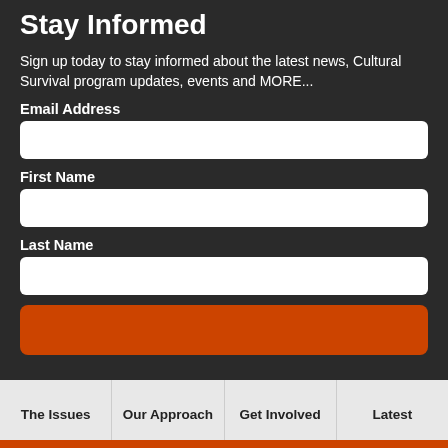Stay Informed
Sign up today to stay informed about the latest news, Cultural Survival program updates, events and MORE...
Email Address
First Name
Last Name
The Issues
Our Approach
Get Involved
Latest